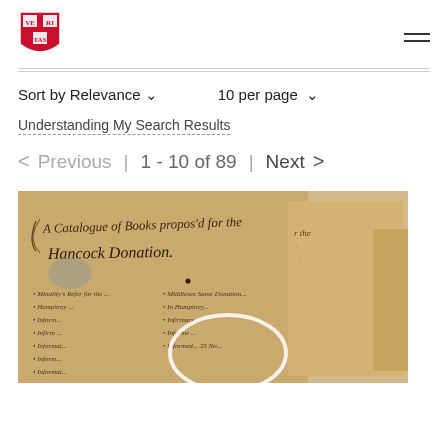[Figure (logo): Harvard University shield logo in red and white]
Sort by Relevance ∨     10 per page ∨
Understanding My Search Results
< Previous  |  1 - 10 of 89  |  Next >
[Figure (photo): Historical handwritten documents - A Catalogue of Books proposed for the Hancock Donation, with cursive script on aged parchment paper]